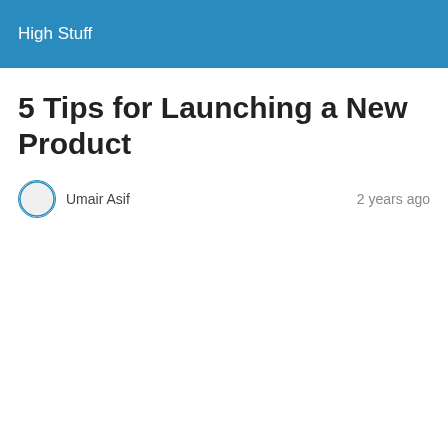High Stuff
5 Tips for Launching a New Product
Umair Asif   2 years ago